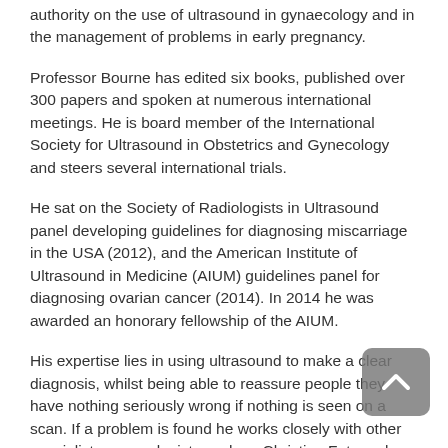authority on the use of ultrasound in gynaecology and in the management of problems in early pregnancy.
Professor Bourne has edited six books, published over 300 papers and spoken at numerous international meetings. He is board member of the International Society for Ultrasound in Obstetrics and Gynecology and steers several international trials.
He sat on the Society of Radiologists in Ultrasound panel developing guidelines for diagnosing miscarriage in the USA (2012), and the American Institute of Ultrasound in Medicine (AIUM) guidelines panel for diagnosing ovarian cancer (2014). In 2014 he was awarded an honorary fellowship of the AIUM.
His expertise lies in using ultrasound to make a clear diagnosis, whilst being able to reassure people they have nothing seriously wrong if nothing is seen on a scan. If a problem is found he works closely with other specialist gynaecologists such as Christina Fotopoulou so that should surgery be required,  it is carried out by the appropriate sub-specialist and so ensure the best outcome.